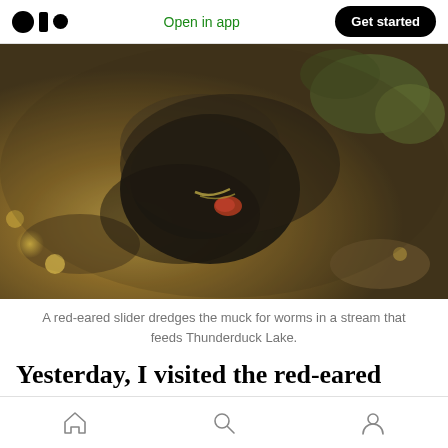Medium app header with logo, Open in app link, and Get started button
[Figure (photo): Underwater/stream-bed close-up photo of a red-eared slider turtle dredging muck for worms in a muddy stream that feeds Thunderduck Lake. Dark murky water over sandy/muddy substrate with vegetation and bokeh light spots.]
A red-eared slider dredges the muck for worms in a stream that feeds Thunderduck Lake.
Yesterday, I visited the red-eared sliders and the
Bottom navigation bar with home, search, and profile icons